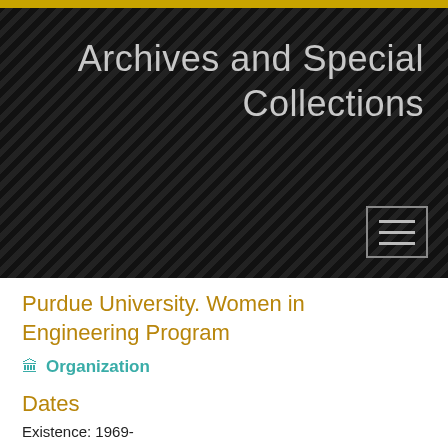Archives and Special Collections
Purdue University. Women in Engineering Program
Organization
Dates
Existence: 1969-
Historical Information
The Purdue Women in Engineering Program was established in 1969 in response to the perceived lack of women students enrolled in engineering in spite of the